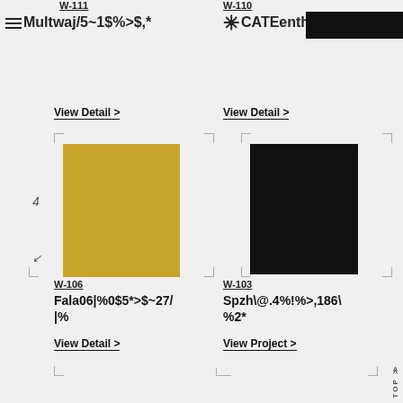W-111
W-110
Multwaj/5~1$%>$,* ✳CATE enth
View Detail >
View Detail >
[Figure (photo): Golden/yellow rectangular product image on left side]
[Figure (photo): Black rectangular product image on right side]
W-106
Fala06|%0$5*>$~27/|%
View Detail >
W-103
Spzh\@.4%!%>,186\%2*
View Project >
TOP >>